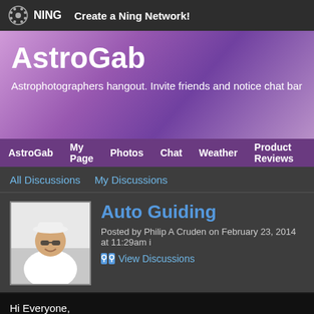NING  Create a Ning Network!
AstroGab
Astrophotographers hangout. Invite friends and notice chat bar o
AstroGab  My Page  Photos  Chat  Weather  Product Reviews
All Discussions    My Discussions
Auto Guiding
Posted by Philip A Cruden on February 23, 2014 at 11:29am i
View Discussions
Hi Everyone,
This is a 2 part question regarding Auto Guiding
1. I have never used guiding before and I would like to start shooting DSO o scope be aligned exactly to the main scope?
2. I am going to use my ZWO ASI120MC or one of my webcams. None of m the ST-4 cable directly from my laptop that the guide camera will be plugge
Like  Sign in to chat!